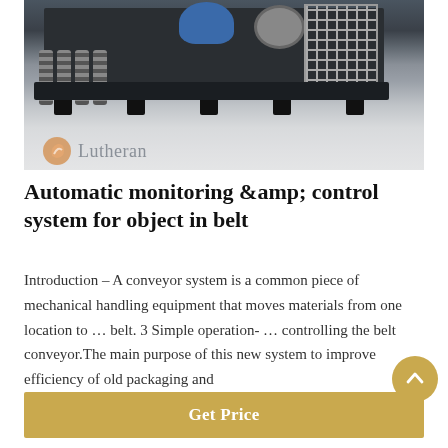[Figure (photo): Industrial belt conveyor machine with blue motor, gray fan/blower, and cage guard on the right, branded with 'Lutheran' watermark logo in lower left corner]
Automatic monitoring &amp; control system for object in belt
Introduction – A conveyor system is a common piece of mechanical handling equipment that moves materials from one location to ... belt. 3 Simple operation- ... controlling the belt conveyor.The main purpose of this new system to improve efficiency of old packaging and